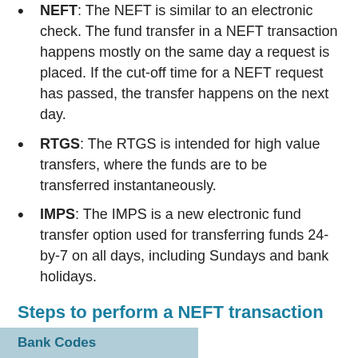NEFT: The NEFT is similar to an electronic check. The fund transfer in a NEFT transaction happens mostly on the same day a request is placed. If the cut-off time for a NEFT request has passed, the transfer happens on the next day.
RTGS: The RTGS is intended for high value transfers, where the funds are to be transferred instantaneously.
IMPS: The IMPS is a new electronic fund transfer option used for transferring funds 24-by-7 on all days, including Sundays and bank holidays.
Steps to perform a NEFT transaction online
Read our comprehensive FAQ about IFSC and MICR codes to see detailed examples on how to use these codes for online transactions.
Bank Codes